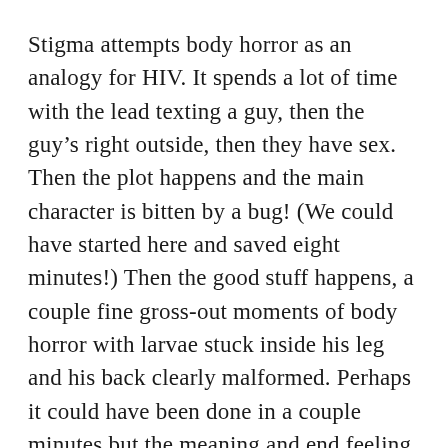Stigma attempts body horror as an analogy for HIV. It spends a lot of time with the lead texting a guy, then the guy's right outside, then they have sex. Then the plot happens and the main character is bitten by a bug! (We could have started here and saved eight minutes!) Then the good stuff happens, a couple fine gross-out moments of body horror with larvae stuck inside his leg and his back clearly malformed. Perhaps it could have been done in a couple minutes but the meaning and end feeling are there.